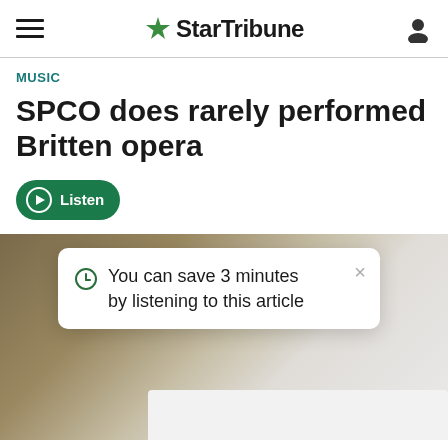StarTribune
MUSIC
SPCO does rarely performed Britten opera
Listen
You can save 3 minutes by listening to this article
[Figure (photo): Background photo of what appears to be an architectural or scenic image, partially obscured by a popup tooltip card]